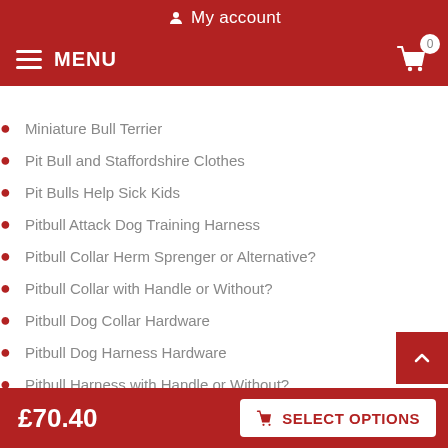My account
MENU
Miniature Bull Terrier
Pit Bull and Staffordshire Clothes
Pit Bulls Help Sick Kids
Pitbull Attack Dog Training Harness
Pitbull Collar Herm Sprenger or Alternative?
Pitbull Collar with Handle or Without?
Pitbull Dog Collar Hardware
Pitbull Dog Harness Hardware
Pitbull Harness with Handle or Without?
Pitbull Leather Dog Collar Brand
£70.40
SELECT OPTIONS